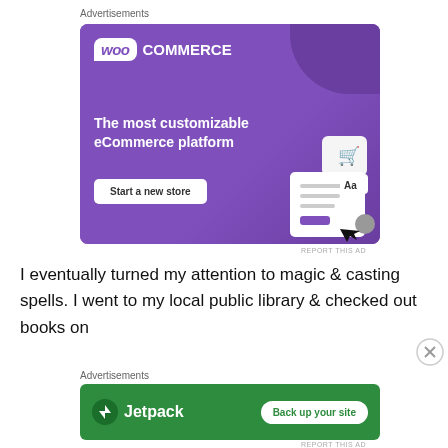Advertisements
[Figure (screenshot): WooCommerce advertisement banner with purple background. Shows WooCommerce logo, tagline 'The most customizable eCommerce platform', 'Start a new store' button, and a UI mockup with shopping cart icon.]
REPORT THIS AD
I eventually turned my attention to magic & casting spells. I went to my local public library & checked out books on
Advertisements
[Figure (screenshot): Jetpack advertisement banner with green background. Shows Jetpack logo and 'Back up your site' button.]